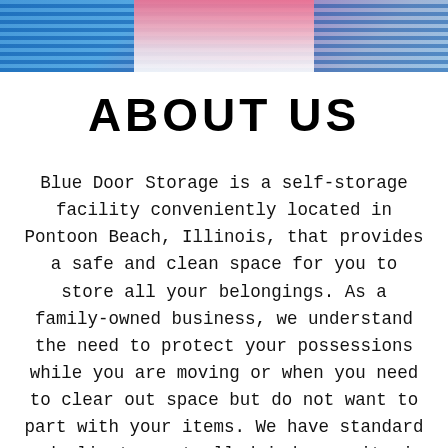[Figure (photo): Cropped photo strip showing a person near blue storage doors, partially visible from the torso area, with blue striped storage unit doors in background.]
ABOUT US
Blue Door Storage is a self-storage facility conveniently located in Pontoon Beach, Illinois, that provides a safe and clean space for you to store all your belongings. As a family-owned business, we understand the need to protect your possessions while you are moving or when you need to clear out space but do not want to part with your items. We have standard and climate-controlled indoor units in various sizes to accommodate different storage needs, as well as outdoor storage for trucks, RVs, and